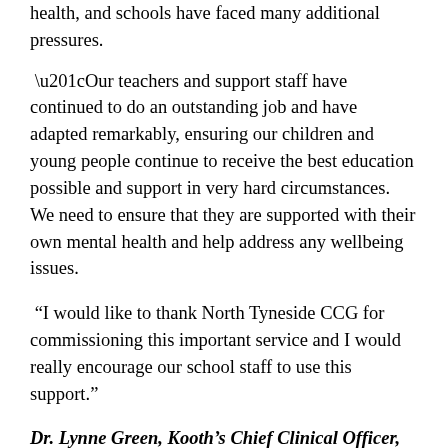health, and schools have faced many additional pressures.
“Our teachers and support staff have continued to do an outstanding job and have adapted remarkably, ensuring our children and young people continue to receive the best education possible and support in very hard circumstances. We need to ensure that they are supported with their own mental health and help address any wellbeing issues.
“I would like to thank North Tyneside CCG for commissioning this important service and I would really encourage our school staff to use this support.”
Dr. Lynne Green, Kooth’s Chief Clinical Officer, added: “We welcome the chance to offer mental health and wellbeing support to school and